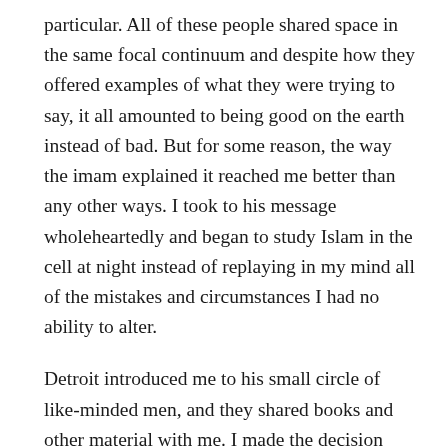particular. All of these people shared space in the same focal continuum and despite how they offered examples of what they were trying to say, it all amounted to being good on the earth instead of bad. But for some reason, the way the imam explained it reached me better than any other ways. I took to his message wholeheartedly and began to study Islam in the cell at night instead of replaying in my mind all of the mistakes and circumstances I had no ability to alter.
Detroit introduced me to his small circle of like-minded men, and they shared books and other material with me. I made the decision that, no matter what the outcome of the trial would be, I was going to be a better man. The material I absorbed at night gave me an impetus to correct my mode of being. But    it was still jail, and I had a few altercations —some physical— mostly because there were so many men